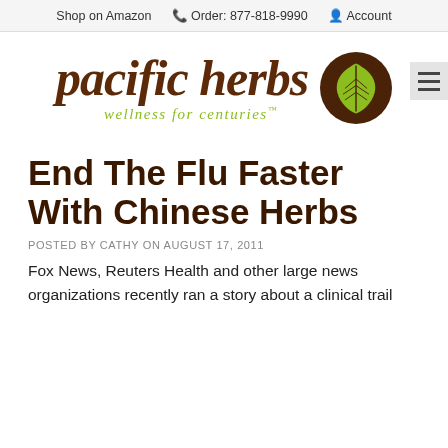Shop on Amazon  Order: 877-818-9990  Account
[Figure (logo): Pacific Herbs logo with italic brown text 'pacific herbs', green tagline 'wellness for centuries™', and a dark brown circular emblem with a green leaf]
End The Flu Faster With Chinese Herbs
POSTED BY CATHY ON AUGUST 17, 2011
Fox News, Reuters Health and other large news organizations recently ran a story about a clinical trail